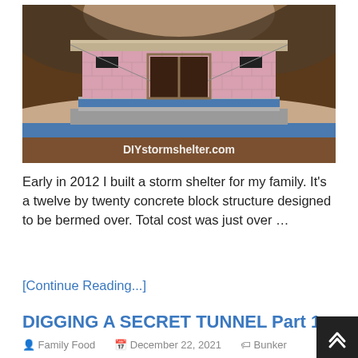[Figure (illustration): 3D rendering of an underground storm shelter/bunker built with pink concrete blocks, with a flat concrete roof, double door entrance, small windows, embedded in earth/soil, with blue water table visible. Text overlay at bottom: DIYstormshelter.com]
Early in 2012 I built a storm shelter for my family. It's a twelve by twenty concrete block structure designed to be bermed over. Total cost was just over …
[Continue Reading...]
DIGGING A SECRET TUNNEL Part 1
Family Food   December 22, 2021   Bunker